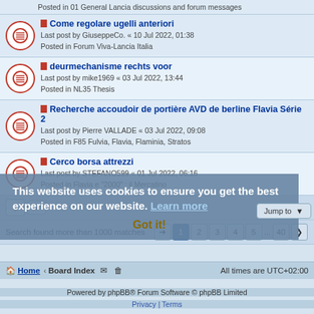Posted in 01 General Lancia discussions and forum messages
Come regolare ugelli anteriori
Last post by GiuseppeCo. « 10 Jul 2022, 01:38
Posted in Forum Viva-Lancia Italia
deurmechanisme rechts voor
Last post by mike1969 « 03 Jul 2022, 13:44
Posted in NL35 Thesis
Recherche accoudoir de portière AVD de berline Flavia Série 2
Last post by Pierre VALLADE « 03 Jul 2022, 09:08
Posted in F85 Fulvia, Flavia, Flaminia, Stratos
Cerco borsa attrezzi
Last post by STEFANO599 « 01 Jul 2022, 06:16
Posted in Flavia e "2000" : il Mercatino
Search found more than 1000 matches
1 2 3 4 5 ... 40
This website uses cookies to ensure you get the best experience on our website. Learn more
Got it!
Jump to
Home · Board Index    All times are UTC+02:00
Powered by phpBB® Forum Software © phpBB Limited
Privacy | Terms